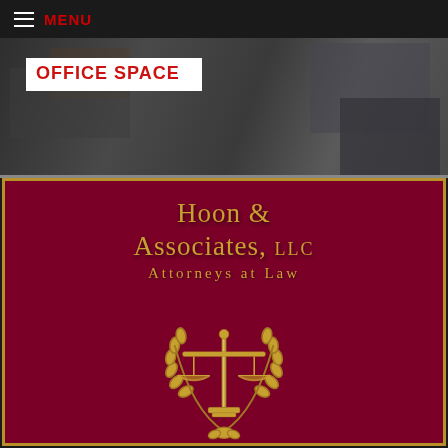MENU
[Figure (photo): Office space photo with 'OFFICE SPACE' label overlay, showing darkened office/desk environment]
[Figure (logo): Hoon & Associates, LLC Attorneys at Law logo on dark maroon background with gold text and scales of justice emblem with laurel wreath]